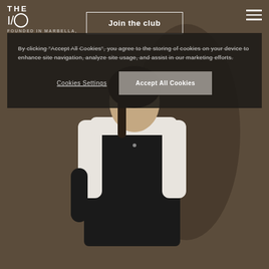[Figure (photo): Website screenshot of 'THE I/O' brand page founded in Marbella, showing a woman in black athletic wear with white towel around neck, standing against a warm beige wall. A cookie consent overlay is displayed on top of the navigation area.]
FOUNDED IN MARBELLA, JOIN THE I/O
By clicking "Accept All Cookies", you agree to the storing of cookies on your device to enhance site navigation, analyze site usage, and assist in our marketing efforts.
Cookies Settings
Accept All Cookies